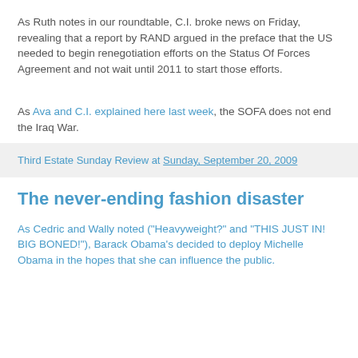As Ruth notes in our roundtable, C.I. broke news on Friday, revealing that a report by RAND argued in the preface that the US needed to begin renegotiation efforts on the Status Of Forces Agreement and not wait until 2011 to start those efforts.
As Ava and C.I. explained here last week, the SOFA does not end the Iraq War.
Third Estate Sunday Review at Sunday, September 20, 2009
The never-ending fashion disaster
As Cedric and Wally noted ("Heavyweight?" and "THIS JUST IN! BIG BONED!"), Barack Obama's decided to deploy Michelle Obama in the hopes that she can influence the public.